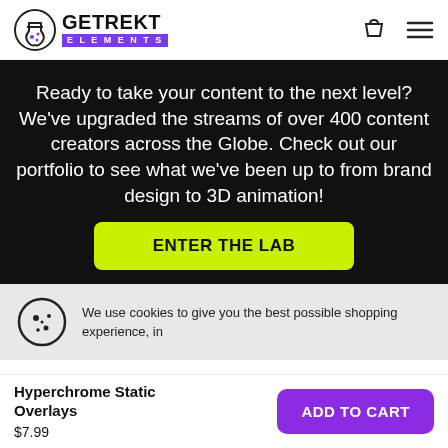[Figure (logo): Getrekt Elements logo with flask icon, bold black text and purple ELEMENTS banner]
Ready to take your content to the next level? We've upgraded the streams of over 400 content creators across the Globe. Check out our portfolio to see what we've been up to from brand design to 3D animation!
ENTER THE LAB
We use cookies to give you the best possible shopping experience, in
Hyperchrome Static Overlays
$7.99
ADD TO CART